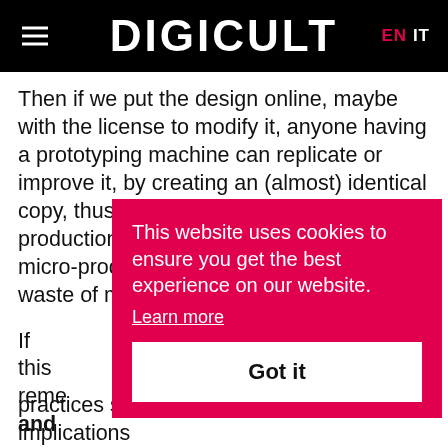DIGICULT EN IT
Then if we put the design online, maybe with the license to modify it, anyone having a prototyping machine can replicate or improve it, by creating an (almost) identical copy, thus bypassing the step of industrial production, now implied in the personal micro-production. And, even better, the waste of mate
If this reme s and  medi Wire practices show how social and economic implications
This website uses cookies to ensure you get the best experience on our website.
Learn more
Got it